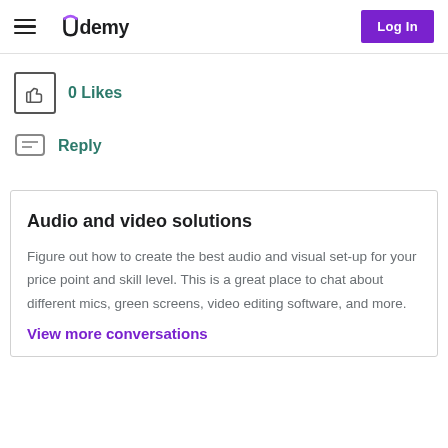Udemy — Log In
[Figure (screenshot): Thumbs up like button showing 0 Likes]
0 Likes
Reply
Audio and video solutions
Figure out how to create the best audio and visual set-up for your price point and skill level. This is a great place to chat about different mics, green screens, video editing software, and more.
View more conversations